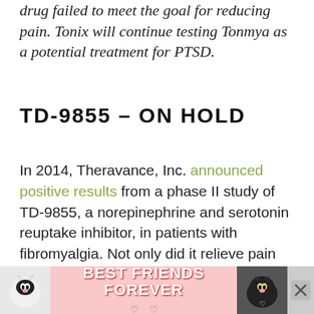drug failed to meet the goal for reducing pain. Tonix will continue testing Tonmya as a potential treatment for PTSD.
TD-9855 – ON HOLD
In 2014, Theravance, Inc. announced positive results from a phase II study of TD-9855, a norepinephrine and serotonin reuptake inhibitor, in patients with fibromyalgia. Not only did it relieve pain better than placebo, but it also improved fatigue – a quality that's unique among the fibromyalgia drugs currently on the m...
[Figure (other): Advertisement banner showing two cats (black-and-white cat on left, black cat on right) with text 'BEST FRIENDS FOREVER' on a pink background with hearts, and a close/X button.]